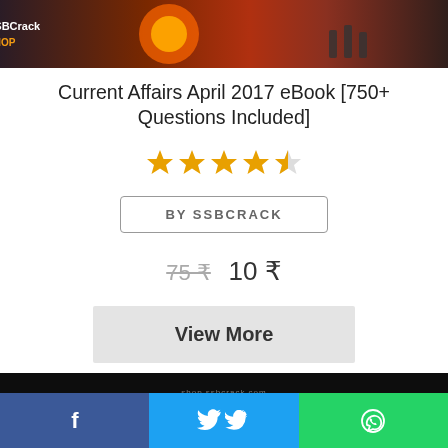[Figure (screenshot): Top banner image with SSBCrack logo, showing space/sun imagery and people silhouettes]
Current Affairs April 2017 eBook [750+ Questions Included]
[Figure (other): Star rating showing approximately 4.5 out of 5 stars in orange]
BY SSBCRACK
75 ₹   10 ₹
View More
[Figure (screenshot): Bottom banner with shop.ssbcrack.com and CURRENT text on dark background]
[Figure (other): Social share bar with Facebook, Twitter, and WhatsApp buttons]